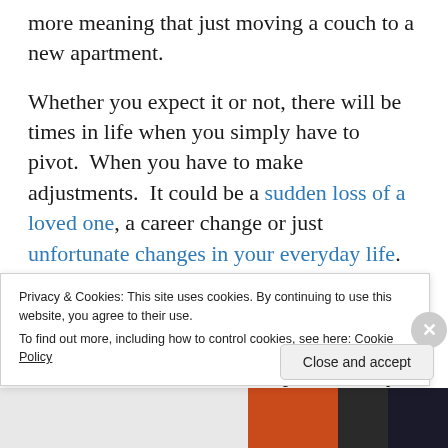more meaning that just moving a couch to a new apartment.
Whether you expect it or not, there will be times in life when you simply have to pivot. When you have to make adjustments. It could be a sudden loss of a loved one, a career change or just unfortunate changes in your everyday life. Whatever the case may be life is not a blueprint that we create for ourselves. Instead life just kind of just happens and we have to learn to roll with the punches. By doing so
Privacy & Cookies: This site uses cookies. By continuing to use this website, you agree to their use.
To find out more, including how to control cookies, see here: Cookie Policy
Close and accept